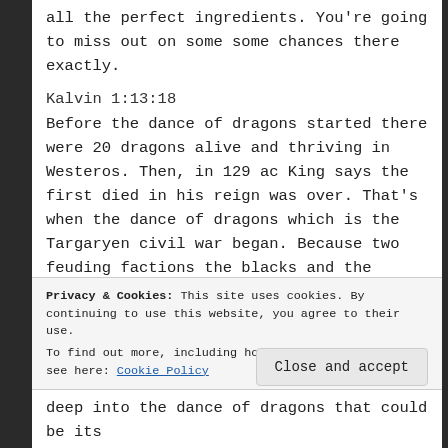all the perfect ingredients. You're going to miss out on some some chances there exactly.
Kalvin 1:13:18
Before the dance of dragons started there were 20 dragons alive and thriving in Westeros. Then, in 129 ac King says the first died in his reign was over. That's when the dance of dragons which is the Targaryen civil war began. Because two feuding factions the blacks and the greens couldn't decide on the succession of the Iron Throne
Privacy & Cookies: This site uses cookies. By continuing to use this website, you agree to their use.
To find out more, including how to control cookies, see here: Cookie Policy
Close and accept
deep into the dance of dragons that could be its